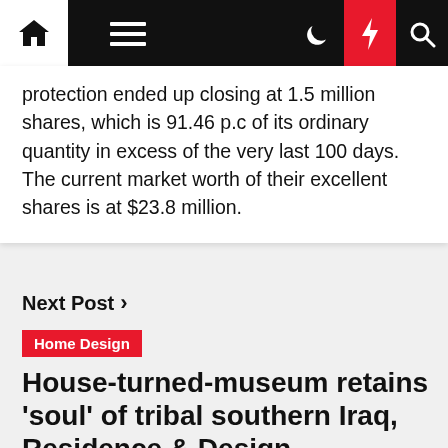Navigation bar with home, menu, moon, lightning, and search icons
protection ended up closing at 1.5 million shares, which is 91.46 p.c of its ordinary quantity in excess of the very last 100 days. The current market worth of their excellent shares is at $23.8 million.
Next Post >
Home Design
House-turned-museum retains 'soul' of tribal southern Iraq, Residence & Design Information & Major Stories